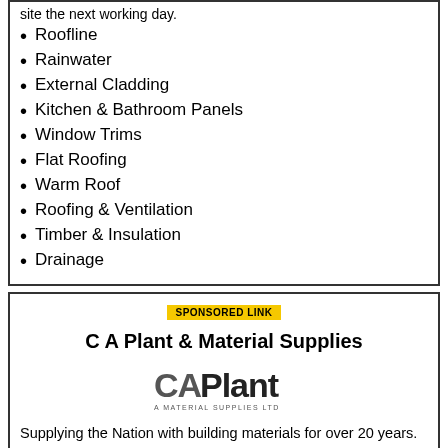site the next working day.
Roofline
Rainwater
External Cladding
Kitchen & Bathroom Panels
Window Trims
Flat Roofing
Warm Roof
Roofing & Ventilation
Timber & Insulation
Drainage
SPONSORED LINK
C A Plant & Material Supplies
[Figure (logo): CA Plant & Material Supplies Ltd logo — stylized text 'CAPlant' with 'A MATERIAL SUPPLIES LTD' beneath]
Supplying the Nation with building materials for over 20 years.